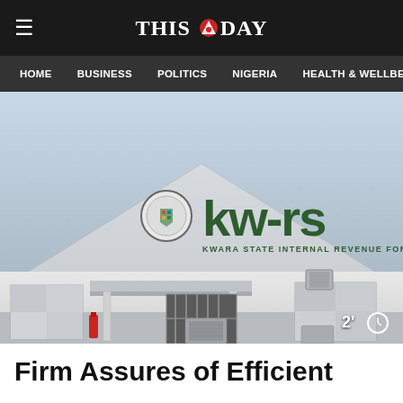THIS DAY
HOME | BUSINESS | POLITICS | NIGERIA | HEALTH & WELLBE
[Figure (photo): Exterior photo of the KW-IRS (Kwara State Internal Revenue Service) building, a white low-rise structure with a triangular roof/gable displaying the KW-IRS logo and text 'KWARA STATE INTERNAL REVENUE SERVICE'. Air conditioning units and a fire extinguisher are visible. Reading time badge '2' with clock icon in bottom right.]
Firm Assures of Efficient